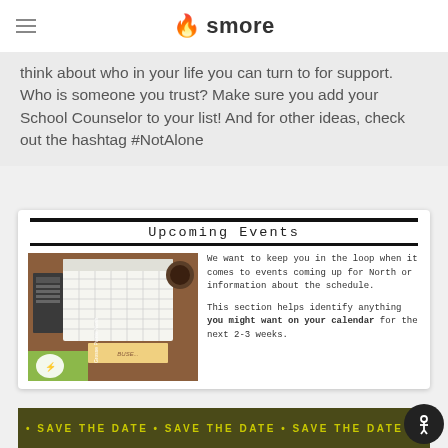smore
think about who in your life you can turn to for support. Who is someone you trust? Make sure you add your School Counselor to your list! And for other ideas, check out the hashtag #NotAlone
[Figure (infographic): Upcoming Events card showing a calendar photo with Grosse Pointe North logo and descriptive text about keeping informed of school events]
[Figure (infographic): Save the Date banner in dark olive/yellow colors with repeating SAVE THE DATE text]